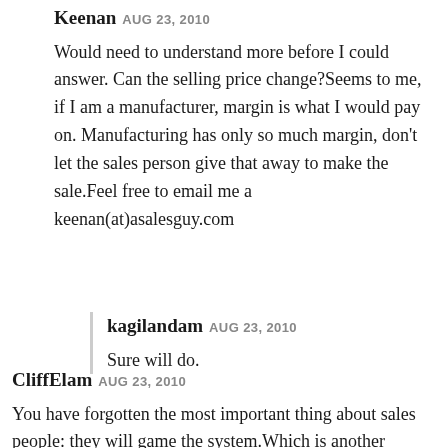Keenan AUG 23, 2010

Would need to understand more before I could answer. Can the selling price change?Seems to me, if I am a manufacturer, margin is what I would pay on. Manufacturing has only so much margin, don't let the sales person give that away to make the sale.Feel free to email me a keenan(at)asalesguy.com
kagilandam AUG 23, 2010

Sure will do.
CliffElam AUG 23, 2010

You have forgotten the most important thing about sales people: they will game the system.Which is another argument for keeping it simple, yes, but it also means you have to have a serious conversation with everyone about what will happen if the intent of the comp-plan is